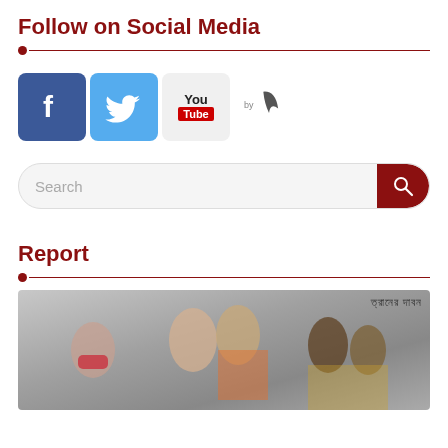Follow on Social Media
[Figure (infographic): Social media icons: Facebook (blue square with 'f'), Twitter (light blue square with bird), YouTube (grey square with 'You Tube' text), and a 'by' feather/quill icon]
[Figure (other): Search bar with placeholder text 'Search' and a dark red search button with magnifying glass icon on the right]
Report
[Figure (photo): Group photo of people at what appears to be a political or social event. Several people visible including a woman in a red mask on the left, men in orange/saffron colored clothing in the center and right. Bengali text visible at the top right of the image.]